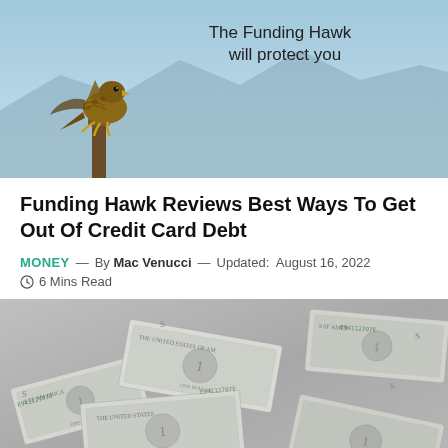[Figure (photo): Hawk perched on a post with mountain background and text 'The Funding Hawk will protect you']
Funding Hawk Reviews Best Ways To Get Out Of Credit Card Debt
MONEY — By Mac Venucci — Updated: August 16, 2022
6 Mins Read
[Figure (photo): Pile of US one dollar bills scattered on a surface]